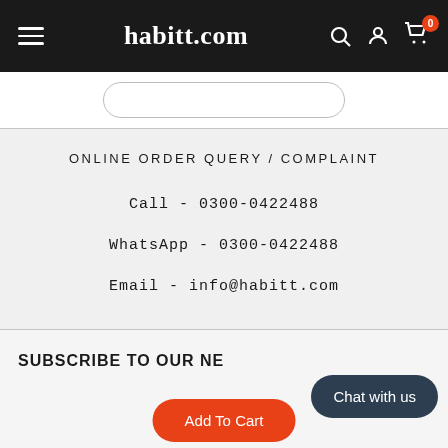habitt.com
ONLINE ORDER QUERY / COMPLAINT
Call - 0300-0422488
WhatsApp - 0300-0422488
Email - info@habitt.com
SUBSCRIBE TO OUR NE...
Chat with us
Add To Cart